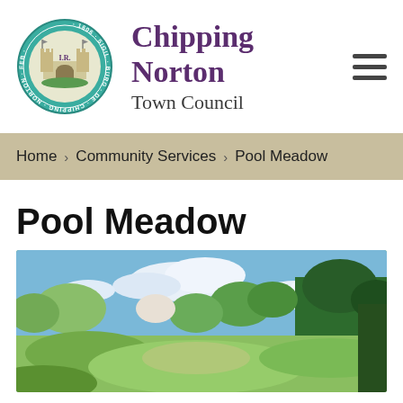[Figure (logo): Chipping Norton Town Council circular seal/crest with castle and 1606 date, teal border with text SIGIL BURG DE CHIPPING NORTON FEB 1606 I.R.]
Chipping Norton Town Council
Home > Community Services > Pool Meadow
Pool Meadow
[Figure (photo): Landscape photo of Pool Meadow showing a grassy meadow clearing surrounded by trees with varied spring foliage under a partly cloudy blue sky]